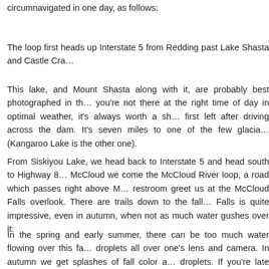circumnavigated in one day, as follows:
The loop first heads up Interstate 5 from Redding past Lake Shasta and Castle Cra…
This lake, and Mount Shasta along with it, are probably best photographed in th… you're not there at the right time of day in optimal weather, it's always worth a sh… first left after driving across the dam. It's seven miles to one of the few glacial… (Kangaroo Lake is the other one).
From Siskiyou Lake, we head back to Interstate 5 and head south to Highway 8… McCloud we come the McCloud River loop, a road which passes right above M… restroom greet us at the McCloud Falls overlook. There are trails down to the fall… Falls is quite impressive, even in autumn, when not as much water gushes over it:
In the spring and early summer, there can be too much water flowing over this fa… droplets all over one's lens and camera. In autumn we get splashes of fall color a… droplets. If you're late enough in the season, you might even get a bit of snow: